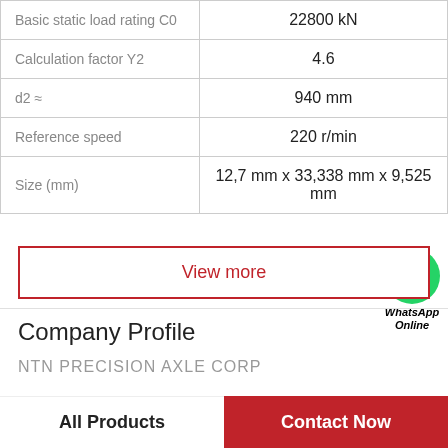| Property | Value |
| --- | --- |
| Basic static load rating C0 | 22800 kN |
| Calculation factor Y2 | 4.6 |
| d2 ≈ | 940 mm |
| Reference speed | 220 r/min |
| Size (mm) | 12,7 mm x 33,338 mm x 9,525 mm |
View more
Company Profile
NTN PRECISION AXLE CORP
All Products   Contact Now